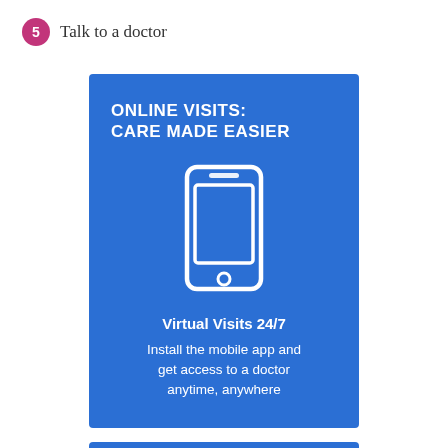5  Talk to a doctor
[Figure (infographic): Blue card with white text and smartphone icon. Headline: ONLINE VISITS: CARE MADE EASIER. Virtual Visits 24/7. Install the mobile app and get access to a doctor anytime, anywhere.]
[Figure (infographic): Partial blue card visible at bottom of page.]